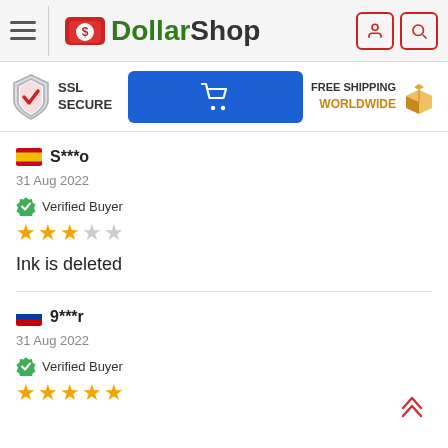DollarShop
[Figure (screenshot): SSL Secure badge, shopping cart button, and Free Shipping Worldwide banner]
S***o
31 Aug 2022
Verified Buyer
★★★☆☆
Ink is deleted
9***r
31 Aug 2022
Verified Buyer
★★★★★